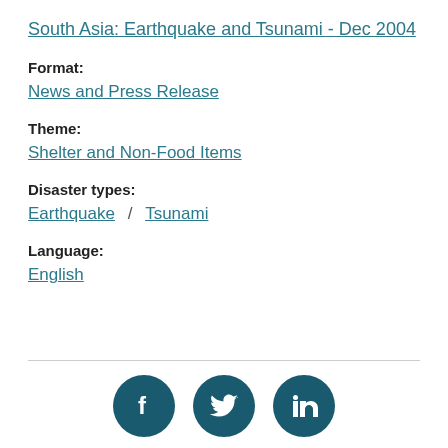South Asia: Earthquake and Tsunami - Dec 2004
Format:
News and Press Release
Theme:
Shelter and Non-Food Items
Disaster types:
Earthquake / Tsunami
Language:
English
[Figure (illustration): Social media share icons: Facebook, Twitter, LinkedIn]